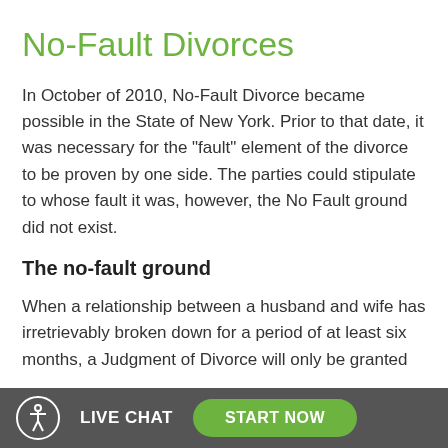No-Fault Divorces
In October of 2010, No-Fault Divorce became possible in the State of New York. Prior to that date, it was necessary for the "fault" element of the divorce to be proven by one side. The parties could stipulate to whose fault it was, however, the No Fault ground did not exist.
The no-fault ground
When a relationship between a husband and wife has irretrievably broken down for a period of at least six months, a Judgment of Divorce will only be granted after the economic, support and custody issues have been resolved. Only one party must state, under oath, that the
LIVE CHAT   START NOW